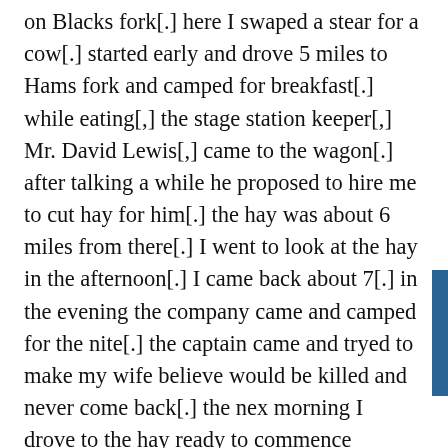on Blacks fork[.] here I swaped a stear for a cow[.] started early and drove 5 miles to Hams fork and camped for breakfast[.] while eating[,] the stage station keeper[,] Mr. David Lewis[,] came to the wagon[.] after talking a while he proposed to hire me to cut hay for him[.] the hay was about 6 miles from there[.] I went to look at the hay in the afternoon[.] I came back about 7[.] in the evening the company came and camped for the nite[.] the captain came and tryed to make my wife believe would be killed and never come back[.] the nex morning I drove to the hay ready to commence cutting[.] the next morning I commenced and and put up about one ton[.] then I had to go to the station[.] while I was gone two Indians that